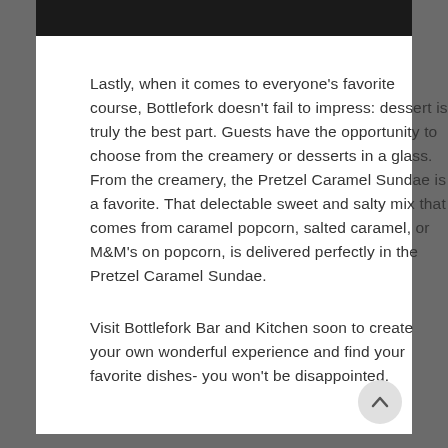[Figure (photo): Partial photo visible at top of page, dark/black image strip]
Lastly, when it comes to everyone's favorite course, Bottlefork doesn't fail to impress: dessert is truly the best part. Guests have the opportunity to choose from the creamery or desserts in a glass. From the creamery, the Pretzel Caramel Sundae is a favorite. That delectable sweet and salty mix that comes from caramel popcorn, salted caramel, or M&M's on popcorn, is delivered perfectly in the Pretzel Caramel Sundae.
Visit Bottlefork Bar and Kitchen soon to create your own wonderful experience and find your favorite dishes- you won't be disappointed.